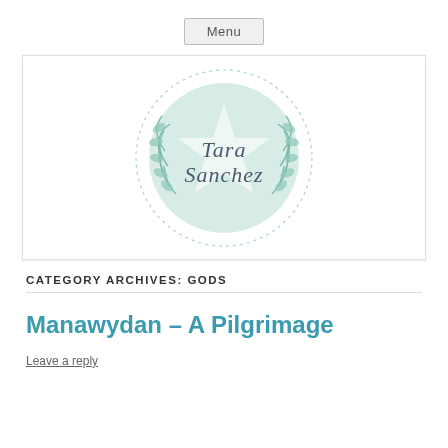Menu
[Figure (logo): Tara Sanchez logo — circular mint green emblem with a star and laurel wreath, text reads Tara Sanchez in cursive]
CATEGORY ARCHIVES: GODS
Manawydan – A Pilgrimage
Leave a reply